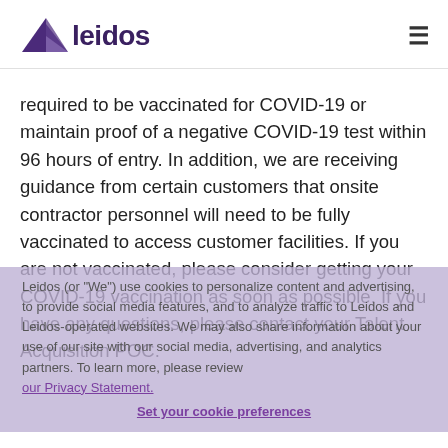[Figure (logo): Leidos logo with purple arrow/triangle and bold 'leidos' text]
required to be vaccinated for COVID-19 or maintain proof of a negative COVID-19 test within 96 hours of entry. In addition, we are receiving guidance from certain customers that onsite contractor personnel will need to be fully vaccinated to access customer facilities. If you are not vaccinated, please consider getting your COVID-19 vaccination as soon as possible. If you have any questions, please contact your Talent Acquisition POC.
Leidos (or "We") use cookies to personalize content and advertising, to provide social media features, and to analyze traffic to Leidos and Leidos-operated websites. We may also share information about your use of our site with our social media, advertising, and analytics partners. To learn more, please review [privacy statement link].
About Leidos
Leidos is a Fortune 500® technology, engineering, and science solutions and services leader working to solve the world's toughest challenges in the defense